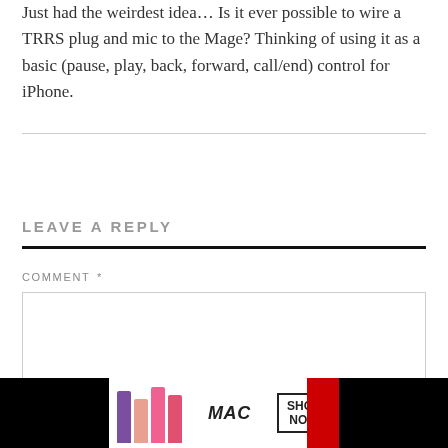Just had the weirdest idea… Is it ever possible to wire a TRRS plug and mic to the Mage? Thinking of using it as a basic (pause, play, back, forward, call/end) control for iPhone.
LEAVE A REPLY
COMMENT *
[Figure (screenshot): Empty comment text area input box with a CLOSE button in the bottom right corner]
[Figure (photo): MAC Cosmetics advertisement showing lipstick products in purple, peach, and pink with MAC logo and SHOP NOW button, red lipstick on right side]